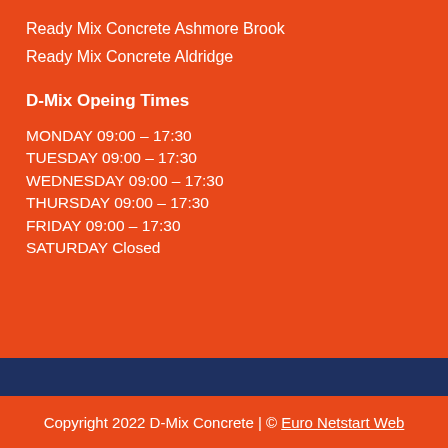Ready Mix Concrete Ashmore Brook
Ready Mix Concrete Aldridge
D-Mix Opeing Times
MONDAY 09:00 – 17:30
TUESDAY 09:00 – 17:30
WEDNESDAY 09:00 – 17:30
THURSDAY 09:00 – 17:30
FRIDAY 09:00 – 17:30
SATURDAY Closed
Copyright 2022 D-Mix Concrete | © Euro Netstart Web